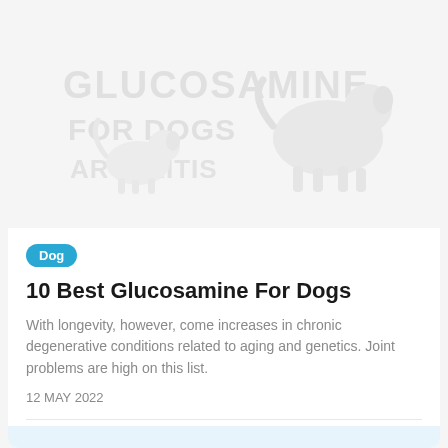[Figure (illustration): Faint watermark-style illustration showing dogs and glucosamine-related text in light gray on white background]
Dog
10 Best Glucosamine For Dogs
With longevity, however, come increases in chronic degenerative conditions related to aging and genetics. Joint problems are high on this list.
12 MAY 2022